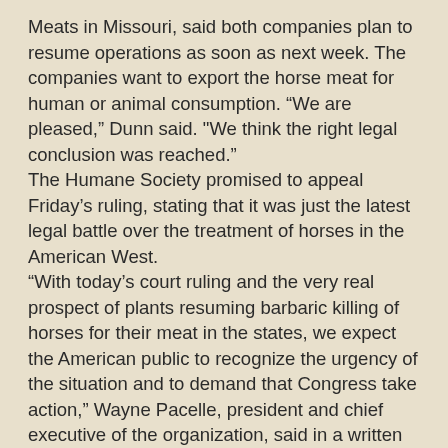Meats in Missouri, said both companies plan to resume operations as soon as next week. The companies want to export the horse meat for human or animal consumption. “We are pleased,” Dunn said. "We think the right legal conclusion was reached.” The Humane Society promised to appeal Friday’s ruling, stating that it was just the latest legal battle over the treatment of horses in the American West. “With today’s court ruling and the very real prospect of plants resuming barbaric killing of horses for their meat in the states, we expect the American public to recognize the urgency of the situation and to demand that Congress take action,” Wayne Pacelle, president and chief executive of the organization, said in a written statement. The issue of horse slaughter has proved to be divisive with a heated debate over what is the most humane solution to the nation’s overpopulation of horses, with many of the animals neglected and starving. Rick de los Santos, the owner of the New Mexico slaughterhouse, sued the Department of Agriculture last year, claiming the agency was holding up its review of the application because of public pressure.